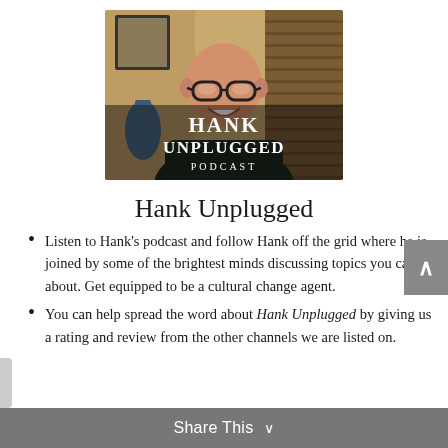[Figure (photo): Hank Unplugged Podcast cover art showing a smiling bald man with glasses wearing a dark shirt, seated indoors. Text overlay reads 'HANK UNPLUGGED PODCAST' in white serif letters.]
Hank Unplugged
Listen to Hank's podcast and follow Hank off the grid where he is joined by some of the brightest minds discussing topics you care about. Get equipped to be a cultural change agent.
You can help spread the word about Hank Unplugged by giving us a rating and review from the other channels we are listed on.
Share This